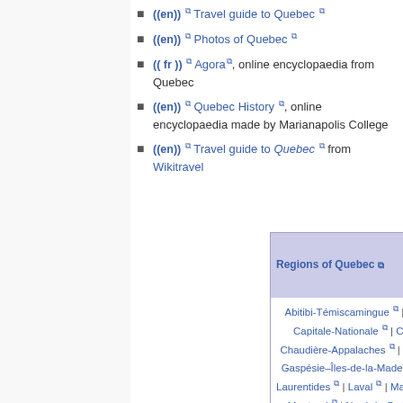((en)) Travel guide to Quebec
((en)) Photos of Quebec
((fr)) Agora, online encyclopaedia from Quebec
((en)) Quebec History, online encyclopaedia made by Marianapolis College
((en)) Travel guide to Quebec from Wikitravel
| Regions of Quebec | Flag of Quebec |
| --- | --- |
| Abitibi-Témiscamingue | Bas-Saint-Laurent | Capitale-Nationale | Centre-du-Québec | Chaudière-Appalaches | Côte-Nord | Estrie | Gaspésie–Îles-de-la-Madeleine | Lanaudière | Laurentides | Laval | Mauricie | Montérégie | Montreal | Nord-du-Québec | Outaouais | Saguenay–Lac-Saint-Jean |